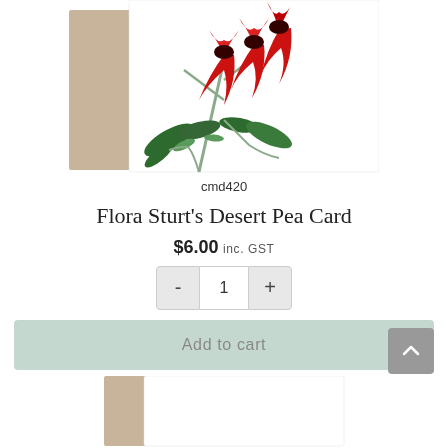[Figure (photo): Product photo of Flora Sturt's Desert Pea Card showing red drooping flowers with green leaves and a kraft envelope behind the card]
cmd420
Flora Sturt's Desert Pea Card
$6.00 inc. GST
- 1 +
Add to cart
[Figure (photo): Partial view of another card product at the bottom of the page]